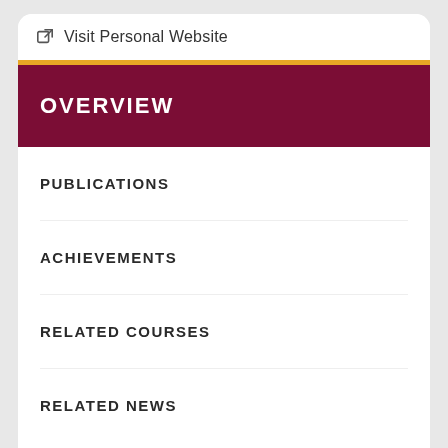Visit Personal Website
OVERVIEW
PUBLICATIONS
ACHIEVEMENTS
RELATED COURSES
RELATED NEWS